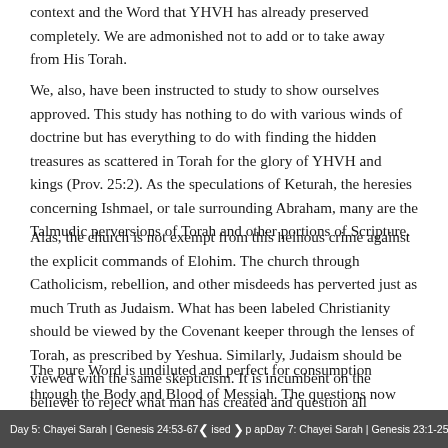context and the Word that YHVH has already preserved completely. We are admonished not to add or to take away from His Torah.
We, also, have been instructed to study to show ourselves approved. This study has nothing to do with various winds of doctrine but has everything to do with finding the hidden treasures as scattered in Torah for the glory of YHVH and kings (Prov. 25:2). As the speculations of Keturah, the heresies concerning Ishmael, or tale surrounding Abraham, many are the Talmudic perversions of Torah and other portions of Scripture.
Alas, the church is not exempt from this heinous crime against the explicit commands of Elohim. The church through Catholicism, rebellion, and other misdeeds has perverted just as much Truth as Judaism. What has been labeled Christianity should be viewed by the Covenant keeper through the lenses of Torah, as prescribed by Yeshua. Similarly, Judaism should be viewed with the same skepticism. It is incumbent on the believer to reject what man has created and question all vainglorious traditions, which have wrought a vain religion.
The pure Word is undiluted and perfect for consumption through the Body and Blood of Messiah. The questions now become: How will our story continue as we dig deeper for the uncompromised Truth? Will we destroy YHVH(2 Cor. 10:5)?
Day 5: Chayei Sarah | Genesis 24:53-67     ❮ ised ❯ p ap...     Day 7: Chayei Sarah | Genesis 23:1-25…